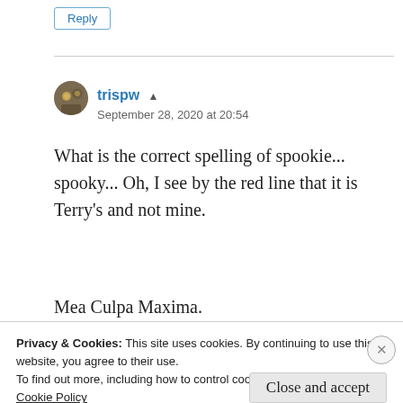Reply
[Figure (photo): User avatar for trispw – circular profile image]
trispw ▲
September 28, 2020 at 20:54
What is the correct spelling of spookie... spooky... Oh, I see by the red line that it is Terry's and not mine.
Mea Culpa Maxima.
Privacy & Cookies: This site uses cookies. By continuing to use this website, you agree to their use. To find out more, including how to control cookies, see here: Cookie Policy
Close and accept